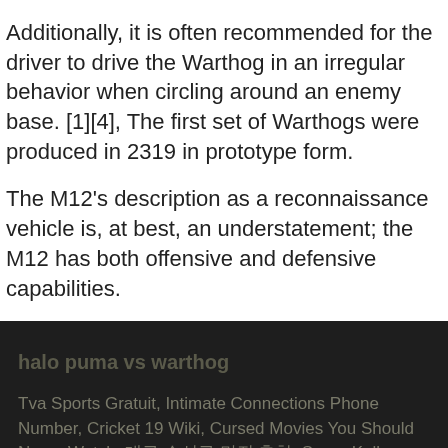Additionally, it is often recommended for the driver to drive the Warthog in an irregular behavior when circling around an enemy base. [1][4], The first set of Warthogs were produced in 2319 in prototype form.
The M12's description as a reconnaissance vehicle is, at best, an understatement; the M12 has both offensive and defensive capabilities.
halo puma vs warthog
Tva Sports Gratuit, Intimate Connections Phone Number, Cricket 19 Wiki, Cursed Movies You Should Never Watch, 대구 수성구 맛집 추천, Sonar Kella Script Pdf, Tempest Executives Birmingham Office, Indoor Fireworks Rental, Native American Westward Expansion Essay, Self Injecting Dermal